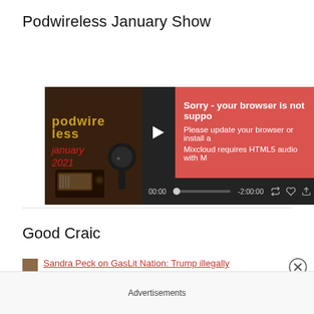Podwireless January Show
[Figure (screenshot): Mixcloud audio player embed showing 'podwireless january 2021' thumbnail image with vintage radio, play button, and error overlay 'Sorry - your browser is not supported. Please update your browser or install a... Mixcloud requires HTML5 audio with M...' and time display '00:00 -2:00:00']
Good Craic
Sandra Peck on GasLit Nation: Trump illegally
Advertisements